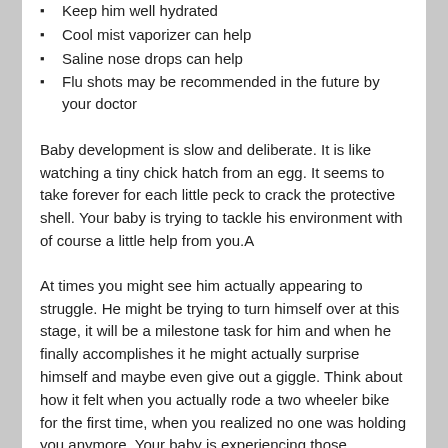Keep him well hydrated
Cool mist vaporizer can help
Saline nose drops can help
Flu shots may be recommended in the future by your doctor
Baby development is slow and deliberate. It is like watching a tiny chick hatch from an egg. It seems to take forever for each little peck to crack the protective shell. Your baby is trying to tackle his environment with of course a little help from you.A
At times you might see him actually appearing to struggle. He might be trying to turn himself over at this stage, it will be a milestone task for him and when he finally accomplishes it he might actually surprise himself and maybe even give out a giggle. Think about how it felt when you actually rode a two wheeler bike for the first time, when you realized no one was holding you anymore. Your baby is experiencing those monumental moments now so let him enjoy them without too much if